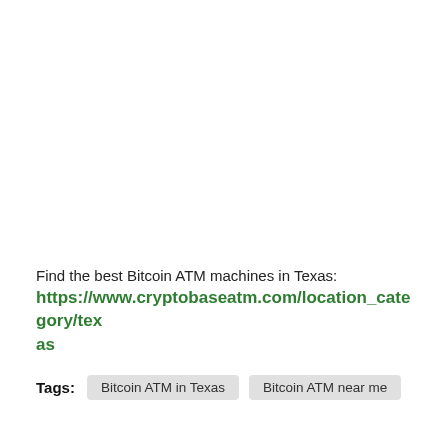Find the best Bitcoin ATM machines in Texas:
https://www.cryptobaseatm.com/location_category/texas
Tags: Bitcoin ATM in Texas  Bitcoin ATM near me